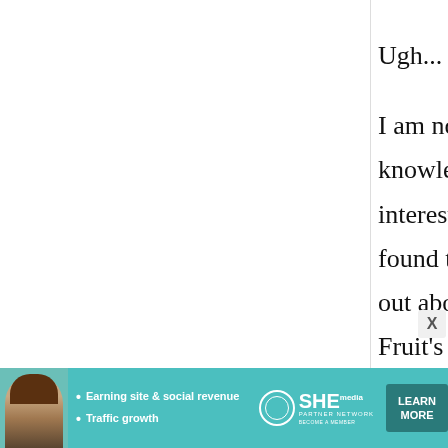Ugh... I am not Japanese (to my knowledge) but I take an interest in manga and anime. I found that a lot of people found out about Onigiri through Fruit's Basket, but oddly enough, I found out about it through the comic Naruto (among
[Figure (screenshot): Advertisement banner for SHE Partner Network with teal background, woman photo, bullet points about Earning site & social revenue and Traffic growth, SHE logo, and LEARN MORE button]